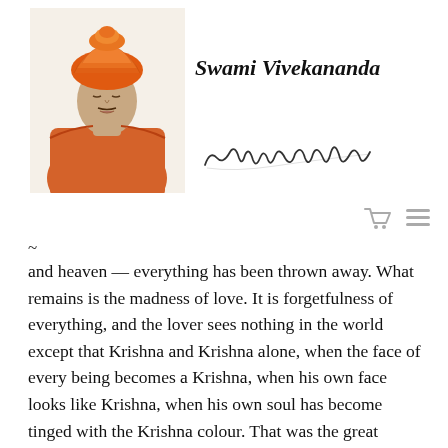[Figure (photo): Portrait of Swami Vivekananda in orange robes and turban, a classic well-known photograph of the Hindu monk]
Swami Vivekananda
[Figure (illustration): Cursive handwritten signature reading 'Swami Vivekananda']
and heaven — everything has been thrown away. What remains is the madness of love. It is forgetfulness of everything, and the lover sees nothing in the world except that Krishna and Krishna alone, when the face of every being becomes a Krishna, when his own face looks like Krishna, when his own soul has become tinged with the Krishna colour. That was the great Krishna!
Do not waste your time upon little details. Take up the framework, the essence of the life. There may be many